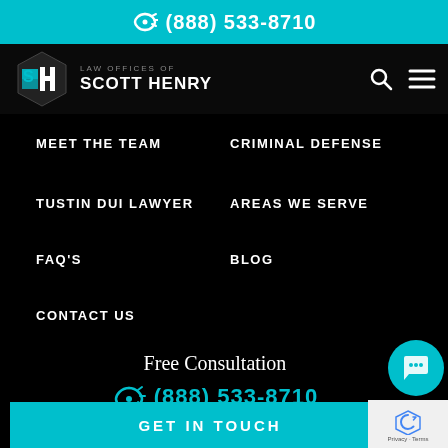(888) 533-8710
[Figure (logo): Law Offices of Scott Henry hexagon logo with SH letters in teal and white]
MEET THE TEAM
CRIMINAL DEFENSE
TUSTIN DUI LAWYER
AREAS WE SERVE
FAQ'S
BLOG
CONTACT US
Free Consultation
(888) 533-8710
GET IN TOUCH